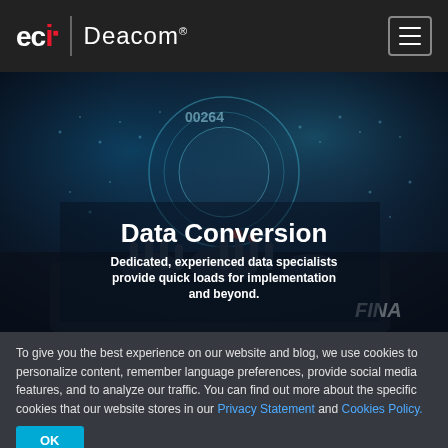eci. Deacom®
[Figure (photo): Dark technology background image showing hands on a keyboard with glowing digital holographic data visualization overlays, blue and teal tones. Text 'FINA' partially visible in lower right.]
Data Conversion
Dedicated, experienced data specialists provide quick loads for implementation and beyond.
To give you the best experience on our website and blog, we use cookies to personalize content, remember language preferences, provide social media features, and to analyze our traffic. You can find out more about the specific cookies that our website stores in our Privacy Statement and Cookies Policy.
OK